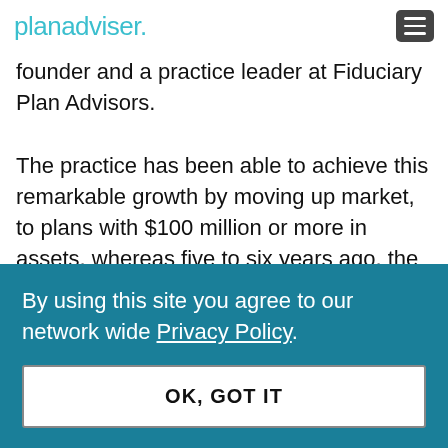planadviser.
founder and a practice leader at Fiduciary Plan Advisors.

The practice has been able to achieve this remarkable growth by moving up market, to plans with $100 million or more in assets, whereas five to six years ago, the practice's average client size was $30 million, she notes.
By using this site you agree to our network wide Privacy Policy.
OK, GOT IT